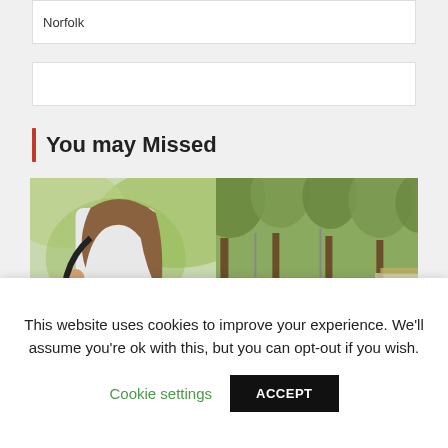Norfolk
You may Missed
[Figure (photo): Left: A woman with a shoulder bag outdoors with greenery in background. Right: A crowded tree-lined boulevard (La Rambla or similar) with many pedestrians and street vendors.]
This website uses cookies to improve your experience. We'll assume you're ok with this, but you can opt-out if you wish.
Cookie settings
ACCEPT